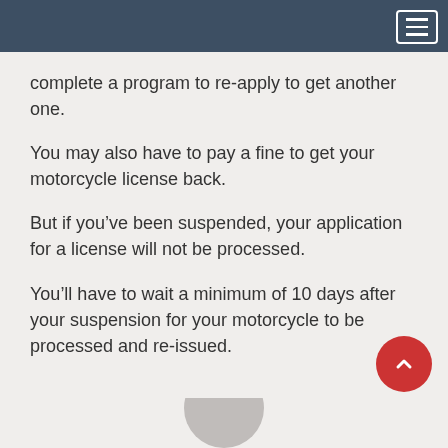complete a program to re-apply to get another one.
You may also have to pay a fine to get your motorcycle license back.
But if you've been suspended, your application for a license will not be processed.
You'll have to wait a minimum of 10 days after your suspension for your motorcycle to be processed and re-issued.